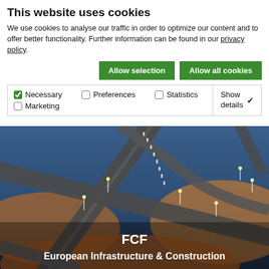This website uses cookies
We use cookies to analyse our traffic in order to optimize our content and to offer better functionality. Further information can be found in our privacy policy.
Allow selection | Allow all cookies
Necessary | Preferences | Statistics | Marketing | Show details
[Figure (photo): Aerial night view of a large highway interchange with traffic and city lights, orange and blue tones]
FCF
European Infrastructure & Construction